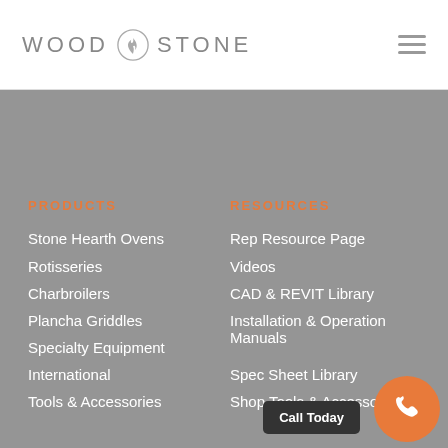WOOD STONE
PRODUCTS
Stone Hearth Ovens
Rotisseries
Charbroilers
Plancha Griddles
Specialty Equipment
International
Tools & Accessories
RESOURCES
Rep Resource Page
Videos
CAD & REVIT Library
Installation & Operation Manuals
Spec Sheet Library
Shop Tools & Accessories
Call Today